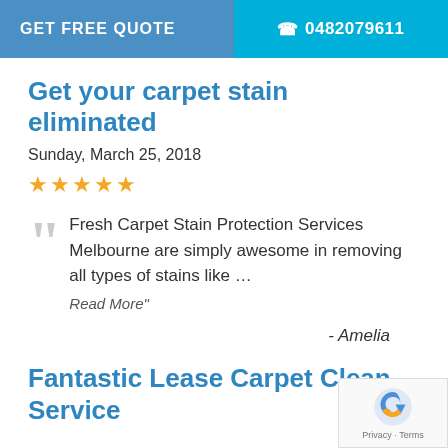GET FREE QUOTE | 0482079611
Get your carpet stain eliminated
Sunday, March 25, 2018
★★★★★
Fresh Carpet Stain Protection Services Melbourne are simply awesome in removing all types of stains like … Read More"
- Amelia
Fantastic Lease Carpet Cleaning Service